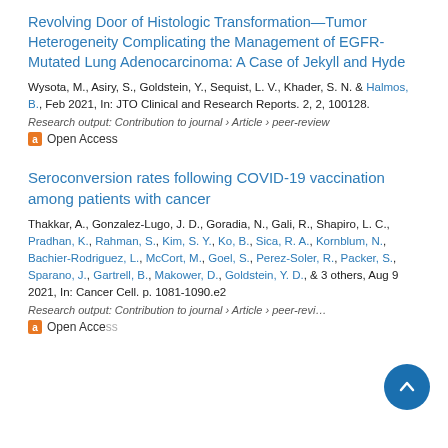Revolving Door of Histologic Transformation—Tumor Heterogeneity Complicating the Management of EGFR-Mutated Lung Adenocarcinoma: A Case of Jekyll and Hyde
Wysota, M., Asiry, S., Goldstein, Y., Sequist, L. V., Khader, S. N. & Halmos, B., Feb 2021, In: JTO Clinical and Research Reports. 2, 2, 100128.
Research output: Contribution to journal › Article › peer-review
Open Access
Seroconversion rates following COVID-19 vaccination among patients with cancer
Thakkar, A., Gonzalez-Lugo, J. D., Goradia, N., Gali, R., Shapiro, L. C., Pradhan, K., Rahman, S., Kim, S. Y., Ko, B., Sica, R. A., Kornblum, N., Bachier-Rodriguez, L., McCort, M., Goel, S., Perez-Soler, R., Packer, S., Sparano, J., Gartrell, B., Makower, D., Goldstein, Y. D., & 3 others, Aug 9 2021, In: Cancer Cell. p. 1081-1090.e2
Research output: Contribution to journal › Article › peer-review
Open Access